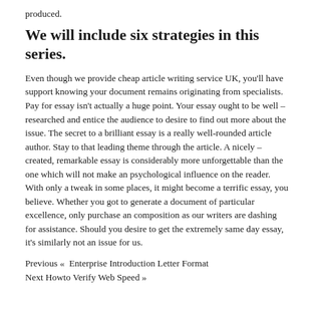produced.
We will include six strategies in this series.
Even though we provide cheap article writing service UK, you'll have support knowing your document remains originating from specialists. Pay for essay isn't actually a huge point. Your essay ought to be well – researched and entice the audience to desire to find out more about the issue. The secret to a brilliant essay is a really well-rounded article author. Stay to that leading theme through the article. A nicely – created, remarkable essay is considerably more unforgettable than the one which will not make an psychological influence on the reader. With only a tweak in some places, it might become a terrific essay, you believe. Whether you got to generate a document of particular excellence, only purchase an composition as our writers are dashing for assistance. Should you desire to get the extremely same day essay, it's similarly not an issue for us.
Previous « Enterprise Introduction Letter Format
Next Howto Verify Web Speed »